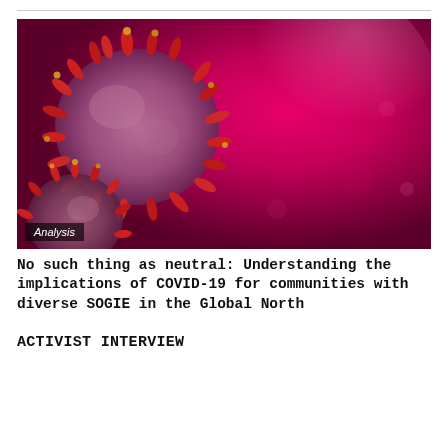[Figure (photo): Microscopic image of coronavirus particles (COVID-19) against a red/magenta background, with a label badge reading 'Analysis']
No such thing as neutral: Understanding the implications of COVID-19 for communities with diverse SOGIE in the Global North
ACTIVIST INTERVIEW